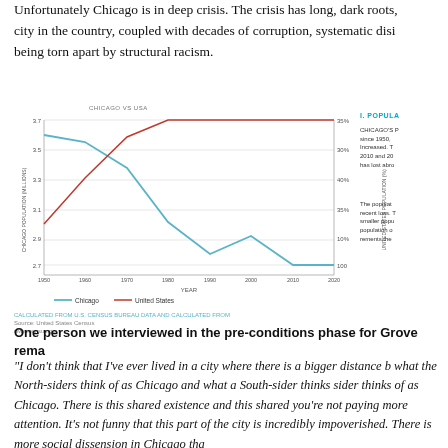Unfortunately Chicago is in deep crisis. The crisis has long, dark roots, city in the country, coupled with decades of corruption, systematic disi being torn apart by structural racism.
[Figure (line-chart): CHICAGO VS USA]
I. POPULA
CHICAGO'S P since 1950, Increased. T 2010 and 20 has lost abro
The populat recent loss. T smaller popu population o rements the
One person we interviewed in the pre-conditions phase for Grove rema
“I don't think that I've ever lived in a city where there is a bigger distance b what the North-siders think of as Chicago and what a South-sider thinks sider thinks of as Chicago. There is this shared existence and this shared you're not paying more attention. It's not funny that this part of the city is incredibly impoverished. There is more social dissension in Chicago tha